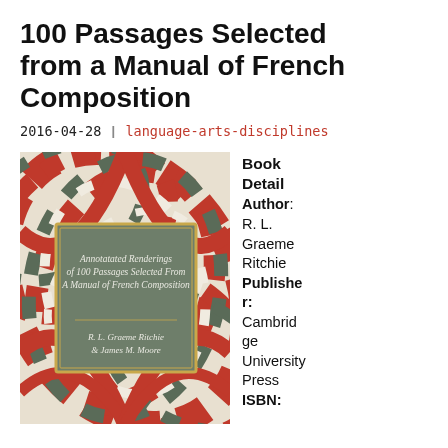100 Passages Selected from a Manual of French Composition
2016-04-28 | language-arts-disciplines
[Figure (photo): Book cover of 'Annotatated Renderings of 100 Passages Selected From A Manual of French Composition' by R. L. Graeme Ritchie & James M. Moore. The cover features a marbled pattern in red, green/grey, and cream/white swirling designs, with a grey/green central label panel showing the title and authors in white and gold-bordered text.]
Book Detail Author: R. L. Graeme Ritchie Publisher: Cambridge University Press ISBN: